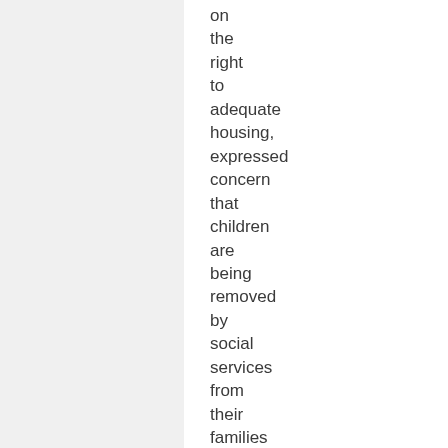on the right to adequate housing, expressed concern that children are being removed by social services from their families and homes because, without